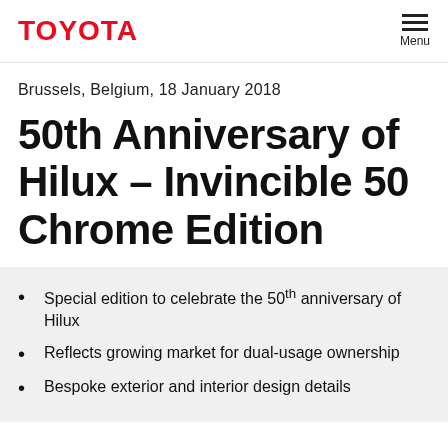TOYOTA | Menu
Brussels, Belgium, 18 January 2018
50th Anniversary of Hilux – Invincible 50 Chrome Edition
Special edition to celebrate the 50th anniversary of Hilux
Reflects growing market for dual-usage ownership
Bespoke exterior and interior design details